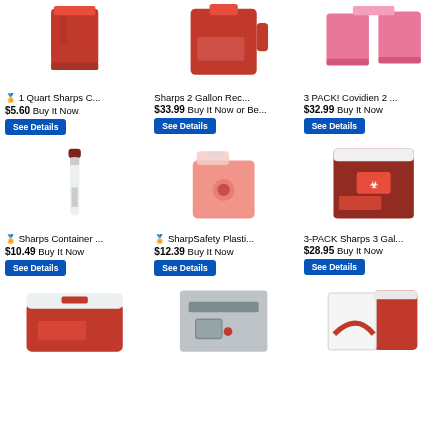[Figure (photo): 1 Quart Sharps Container - small red sharps disposal container]
🏅 1 Quart Sharps C...
$5.60 Buy It Now
See Details
[Figure (photo): Sharps 2 Gallon Rec... - red sharps container with handle]
Sharps 2 Gallon Rec...
$33.99 Buy It Now or Be...
See Details
[Figure (photo): 3 PACK! Covidien 2 ... - pink sharps containers 3 pack]
3 PACK! Covidien 2 ...
$32.99 Buy It Now
See Details
[Figure (photo): Sharps Container - long tube style sharps container]
🏅 Sharps Container ...
$10.49 Buy It Now
See Details
[Figure (photo): SharpSafety Plasti... - translucent pink sharps container]
🏅 SharpSafety Plasti...
$12.39 Buy It Now
See Details
[Figure (photo): 3-PACK Sharps 3 Gal... - large red sharps container with biohazard label]
3-PACK Sharps 3 Gal...
$28.95 Buy It Now
See Details
[Figure (photo): Red sharps container with white lid, flat style]
[Figure (photo): Wall-mounted sharps disposal unit, grey cabinet]
[Figure (photo): Sharps container box set with red container]